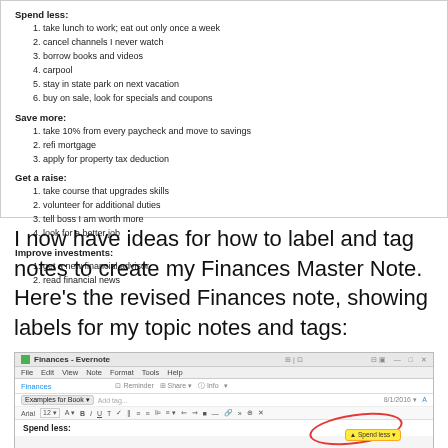Spend less:
1. take lunch to work; eat out only once a week
2. cancel channels I never watch
3. borrow books and videos
4. carpool
5. stay in state park on next vacation
6. buy on sale, look for specials and coupons
Save more:
1. take 10% from every paycheck and move to savings
2. refi mortgage
3. apply for property tax deduction
Get a raise:
1. take course that upgrades skills
2. volunteer for additional duties
3. tell boss I am worth more
4. look for a better job
Improve investments:
1. get a new financial advisor
2. read financial news
I now have ideas for how to label and tag notes to create my Finances Master Note. Here's the revised Finances note, showing labels for my topic notes and tags:
[Figure (screenshot): Evernote application screenshot showing a note titled 'Finances' with 'Examples for Book' tag, showing 'Spend less' content and a red circle annotation highlighting something at the bottom]